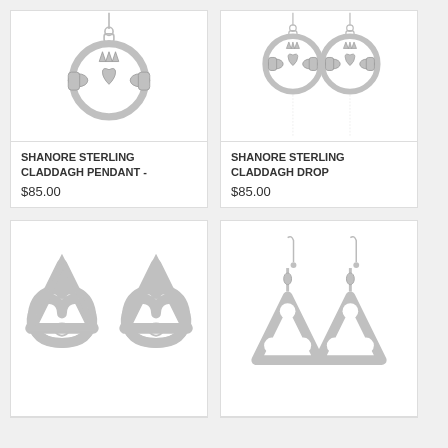[Figure (photo): Shanore sterling silver Claddagh pendant jewelry photo on white background]
SHANORE STERLING CLADDAGH PENDANT -
$85.00
[Figure (photo): Shanore sterling silver Claddagh drop earrings jewelry photo on white background, showing two earrings]
SHANORE STERLING CLADDAGH DROP
$85.00
[Figure (photo): Sterling silver Trinity knot stud earrings, two pieces shown side by side on white background]
[Figure (photo): Sterling silver Trinity knot drop earrings on wire hooks, two pieces shown on white background]